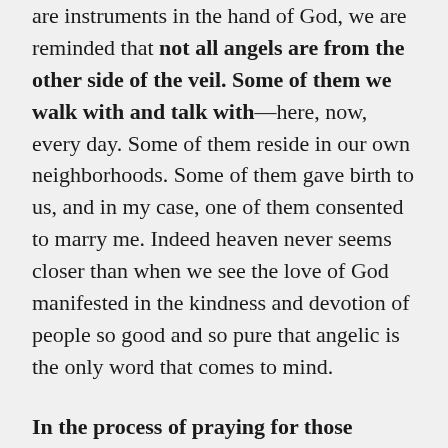are instruments in the hand of God, we are reminded that not all angels are from the other side of the veil. Some of them we walk with and talk with—here, now, every day. Some of them reside in our own neighborhoods. Some of them gave birth to us, and in my case, one of them consented to marry me. Indeed heaven never seems closer than when we see the love of God manifested in the kindness and devotion of people so good and so pure that angelic is the only word that comes to mind.
In the process of praying for those angels to attend us, may we all try to be a little more angelic ourselves—